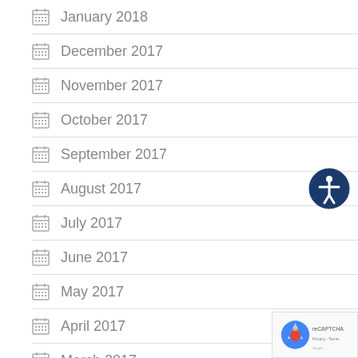January 2018
December 2017
November 2017
October 2017
September 2017
August 2017
July 2017
June 2017
May 2017
April 2017
March 2017
[Figure (illustration): Accessibility button: dark blue circle with white person icon with arms outstretched]
[Figure (illustration): reCAPTCHA badge with Privacy and Terms links]